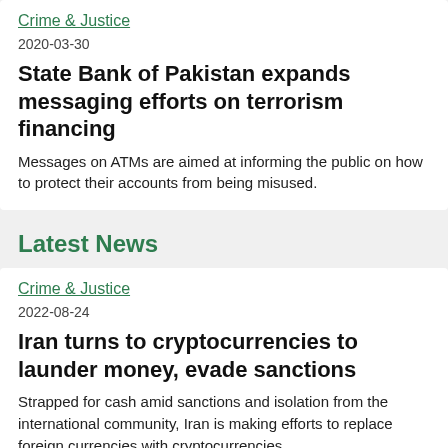Crime & Justice
2020-03-30
State Bank of Pakistan expands messaging efforts on terrorism financing
Messages on ATMs are aimed at informing the public on how to protect their accounts from being misused.
Latest News
Crime & Justice
2022-08-24
Iran turns to cryptocurrencies to launder money, evade sanctions
Strapped for cash amid sanctions and isolation from the international community, Iran is making efforts to replace foreign currencies with cryptocurrencies.
Security